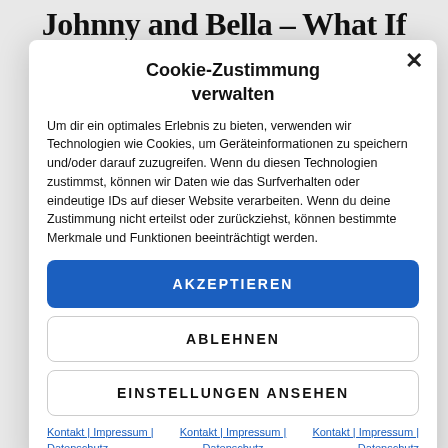Johnny and Bella – What If
Cookie-Zustimmung verwalten
Um dir ein optimales Erlebnis zu bieten, verwenden wir Technologien wie Cookies, um Geräteinformationen zu speichern und/oder darauf zuzugreifen. Wenn du diesen Technologien zustimmst, können wir Daten wie das Surfverhalten oder eindeutige IDs auf dieser Website verarbeiten. Wenn du deine Zustimmung nicht erteilst oder zurückziehst, können bestimmte Merkmale und Funktionen beeinträchtigt werden.
AKZEPTIEREN
ABLEHNEN
EINSTELLUNGEN ANSEHEN
Kontakt | Impressum | Datenschutz
Kontakt | Impressum | Datenschutz
Kontakt | Impressum | Datenschutz